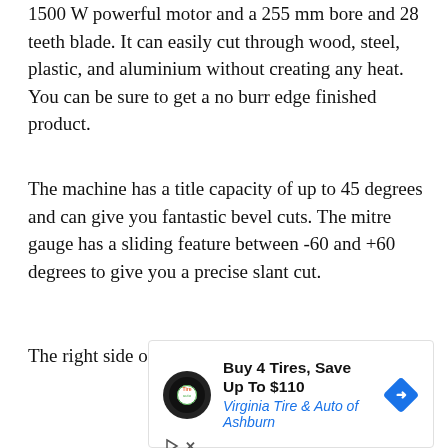1500 W powerful motor and a 255 mm bore and 28 teeth blade. It can easily cut through wood, steel, plastic, and aluminium without creating any heat. You can be sure to get a no burr edge finished product.
The machine has a title capacity of up to 45 degrees and can give you fantastic bevel cuts. The mitre gauge has a sliding feature between -60 and +60 degrees to give you a precise slant cut.
The right side of the table saw is expandable up to 655 mm allowing you to...
[Figure (other): Advertisement for Virginia Tire & Auto of Ashburn: Buy 4 Tires, Save Up To $110. Shows Tires Plus logo circle, blue navigation diamond icon, play and close buttons.]